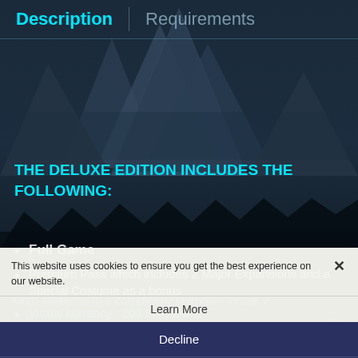Description | Requirements
[Figure (illustration): Dark fantasy mountain landscape background with misty peaks and forest silhouettes]
THE DELUXE EDITION INCLUDES THE FOLLOWING:
Full Game
Premium Pass which includes 2 Major Expansions and a Special Costume as a bonus
Virtual currency : 200 SAO coins
Kirito awakens in a completely unknown virtual v
Set in Underworld, an expansive world introduced in
This website uses cookies to ensure you get the best experience on our website.
Learn More
Decline
Allow All